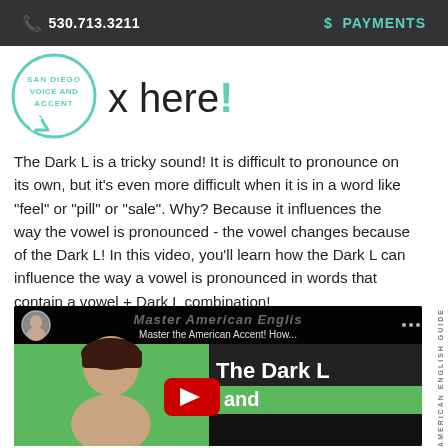530.713.3211  $ PAYMENTS
[Figure (logo): San Diego Voice and Accent circular logo with speech bubble tail]
x here!
The Dark L is a tricky sound! It is difficult to pronounce on its own, but it's even more difficult when it is in a word like "feel" or "pill" or "sale". Why? Because it influences the way the vowel is pronounced - the vowel changes because of the Dark L! In this video, you'll learn how the Dark L can influence the way a vowel is pronounced in words that contain a vowel + Dark L combination!
[Figure (screenshot): YouTube video thumbnail showing a woman on green background with text 'The Dark L' and 'and' on screen, with red play button. Channel: Master American English. Video title: Master the American Accent! How...]